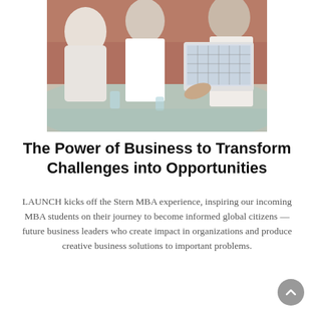[Figure (photo): Business meeting scene with people around a glass table; a person presenting a laptop showing a spreadsheet/data to colleagues in a conference room setting.]
The Power of Business to Transform Challenges into Opportunities
LAUNCH kicks off the Stern MBA experience, inspiring our incoming MBA students on their journey to become informed global citizens — future business leaders who create impact in organizations and produce creative business solutions to important problems.